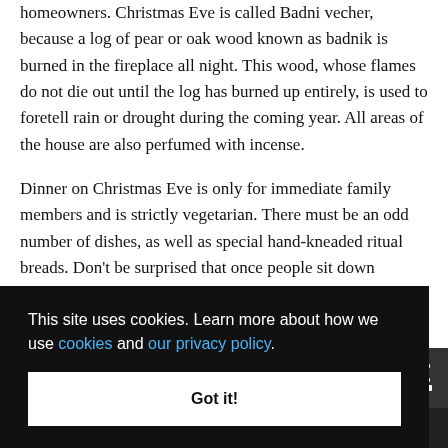homeowners. Christmas Eve is called Badni vecher, because a log of pear or oak wood known as badnik is burned in the fireplace all night. This wood, whose flames do not die out until the log has burned up entirely, is used to foretell rain or drought during the coming year. All areas of the house are also perfumed with incense.
Dinner on Christmas Eve is only for immediate family members and is strictly vegetarian. There must be an odd number of dishes, as well as special hand-kneaded ritual breads. Don't be surprised that once people sit down at [the whole] [g the] [. If you] [r or run] [t of]
This site uses cookies. Learn more about how we use cookies and our privacy policy.
Got it!